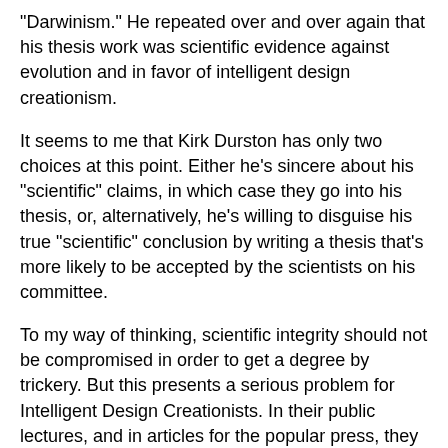"Darwinism." He repeated over and over again that his thesis work was scientific evidence against evolution and in favor of intelligent design creationism.
It seems to me that Kirk Durston has only two choices at this point. Either he's sincere about his "scientific" claims, in which case they go into his thesis, or, alternatively, he's willing to disguise his true "scientific" conclusion by writing a thesis that's more likely to be accepted by the scientists on his committee.
To my way of thinking, scientific integrity should not be compromised in order to get a degree by trickery. But this presents a serious problem for Intelligent Design Creationists. In their public lectures, and in articles for the popular press, they make a big deal about the "scientific" nature of their findings. If that's what they truly believe then they should have no qualms about defending it in a scientific context. In other words, it goes in the thesis and let the chips fall where they may.
But here's the rub. Intelligent Design Creationists know full